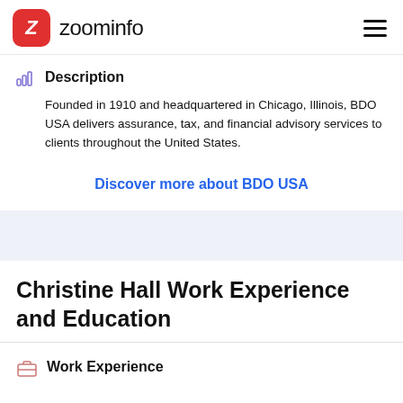zoominfo
Description
Founded in 1910 and headquartered in Chicago, Illinois, BDO USA delivers assurance, tax, and financial advisory services to clients throughout the United States.
Discover more about BDO USA
Christine Hall Work Experience and Education
Work Experience